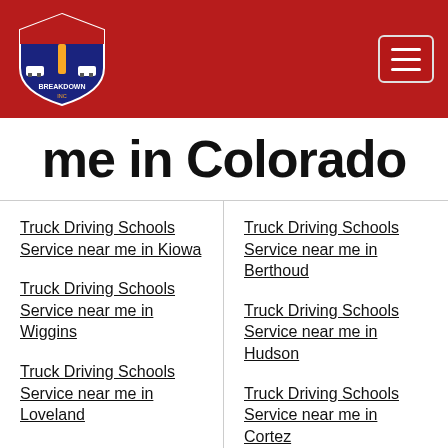Breakdown Inc - Truck Driving Schools Service near me in Colorado
me in Colorado
Truck Driving Schools Service near me in Kiowa
Truck Driving Schools Service near me in Berthoud
Truck Driving Schools Service near me in Wiggins
Truck Driving Schools Service near me in Hudson
Truck Driving Schools Service near me in Loveland
Truck Driving Schools Service near me in Cortez
Truck Driving Schools Service near me in (partial)
Truck Driving Schools Service near me in (partial)